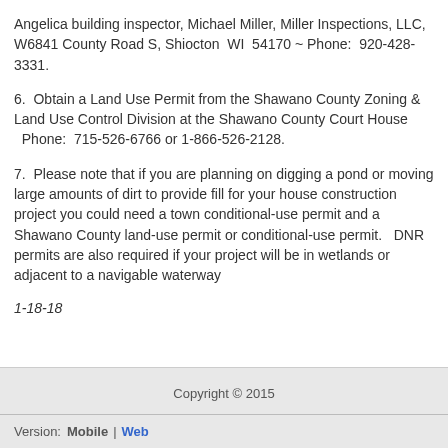Angelica building inspector, Michael Miller, Miller Inspections, LLC, W6841 County Road S, Shiocton  WI  54170 ~ Phone:  920-428-3331.
6.  Obtain a Land Use Permit from the Shawano County Zoning & Land Use Control Division at the Shawano County Court House
  Phone:  715-526-6766 or 1-866-526-2128.
7.  Please note that if you are planning on digging a pond or moving large amounts of dirt to provide fill for your house construction project you could need a town conditional-use permit and a Shawano County land-use permit or conditional-use permit.   DNR permits are also required if your project will be in wetlands or adjacent to a navigable waterway
1-18-18
Copyright © 2015
Version:  Mobile | Web